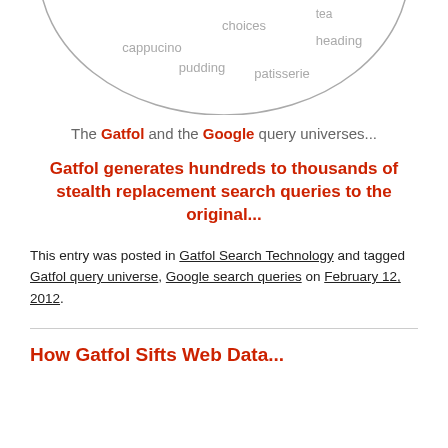[Figure (other): Partial circle/oval diagram showing words: cappucino, choices, tea, heading, pudding, patisserie in gray text]
The Gatfol and the Google query universes...
Gatfol generates hundreds to thousands of stealth replacement search queries to the original...
This entry was posted in Gatfol Search Technology and tagged Gatfol query universe, Google search queries on February 12, 2012.
How Gatfol Sifts Web Data...